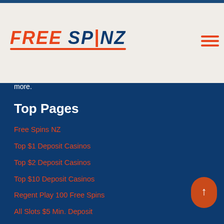FREE SPINZ
more.
Top Pages
Free Spins NZ
Top $1 Deposit Casinos
Top $2 Deposit Casinos
Top $10 Deposit Casinos
Regent Play 100 Free Spins
All Slots $5 Min. Deposit
Mega Moolah
Top Reviews
Jackpot City Casino
LeoVegas Casino